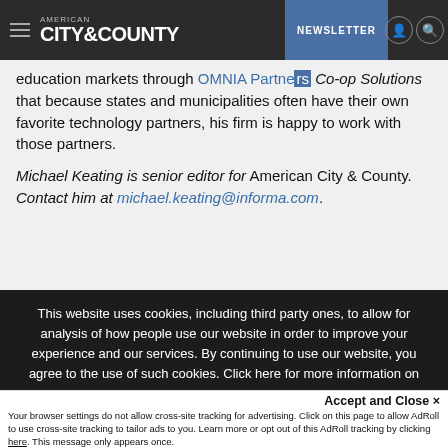American City & County — NEWSLETTER
education markets through OMNIA Partners Co-op Solutions that because states and municipalities often have their own favorite technology partners, his firm is happy to work with those partners.
Michael Keating is senior editor for American City & County. Contact him at michael.keating@informa.com.
This website uses cookies, including third party ones, to allow for analysis of how people use our website in order to improve your experience and our services. By continuing to use our website, you agree to the use of such cookies. Click here for more information on our Cookie Policy and Privacy Policy
Accept and Close ✕
Your browser settings do not allow cross-site tracking for advertising. Click on this page to allow AdRoll to use cross-site tracking to tailor ads to you. Learn more or opt out of this AdRoll tracking by clicking here. This message only appears once.